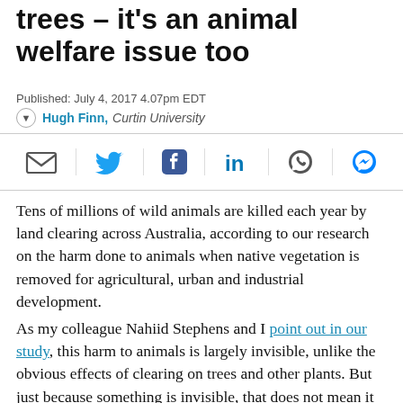trees – it’s an animal welfare issue too
Published: July 4, 2017 4.07pm EDT
Hugh Finn, Curtin University
[Figure (infographic): Social share bar with icons for email, Twitter, Facebook, LinkedIn, WhatsApp, and Messenger]
Tens of millions of wild animals are killed each year by land clearing across Australia, according to our research on the harm done to animals when native vegetation is removed for agricultural, urban and industrial development.
As my colleague Nahiid Stephens and I point out in our study, this harm to animals is largely invisible, unlike the obvious effects of clearing on trees and other plants. But just because something is invisible, that does not mean it should be ignored.